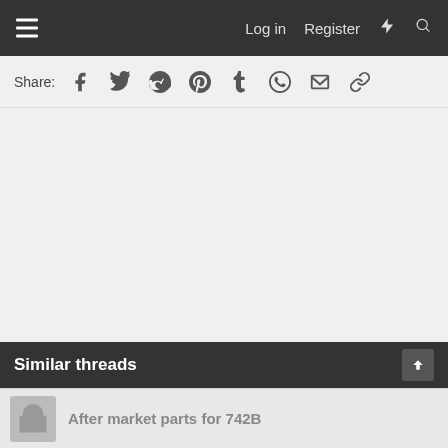≡  Log in  Register
Share:  [Facebook] [Twitter] [Reddit] [Pinterest] [Tumblr] [WhatsApp] [Email] [Link]
Similar threads
After market parts for 742B